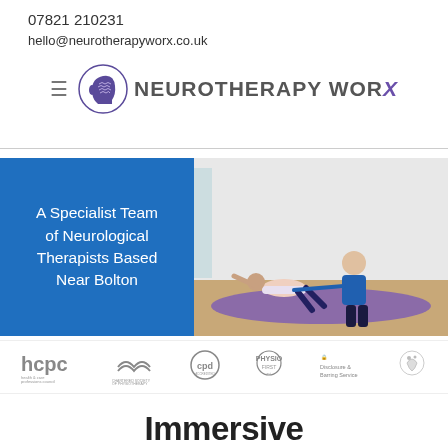07821 210231
hello@neurotherapyworx.co.uk
[Figure (logo): Neurotherapy Worx logo with brain icon and hamburger menu icon]
[Figure (photo): Hero banner: blue panel with text 'A Specialist Team of Neurological Therapists Based Near Bolton' beside a photo of a physiotherapist helping a patient do exercises on a purple mat]
[Figure (logo): Accreditation logos bar: hcpc, Chartered Society of Physiotherapy, cpd, Physio First, Disclosure & Barring Service, and one more logo]
Immersive